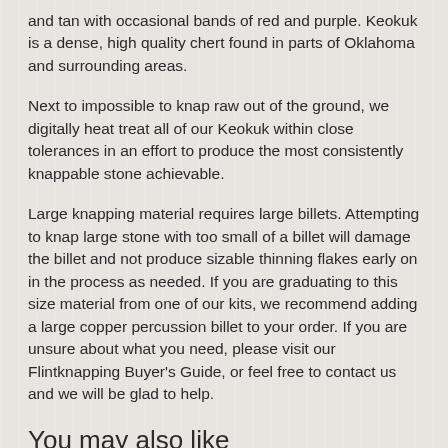and tan with occasional bands of red and purple. Keokuk is a dense, high quality chert found in parts of Oklahoma and surrounding areas.
Next to impossible to knap raw out of the ground, we digitally heat treat all of our Keokuk within close tolerances in an effort to produce the most consistently knappable stone achievable.
Large knapping material requires large billets. Attempting to knap large stone with too small of a billet will damage the billet and not produce sizable thinning flakes early on in the process as needed. If you are graduating to this size material from one of our kits, we recommend adding a large copper percussion billet to your order. If you are unsure about what you need, please visit our Flintknapping Buyer's Guide, or feel free to contact us and we will be glad to help.
You may also like